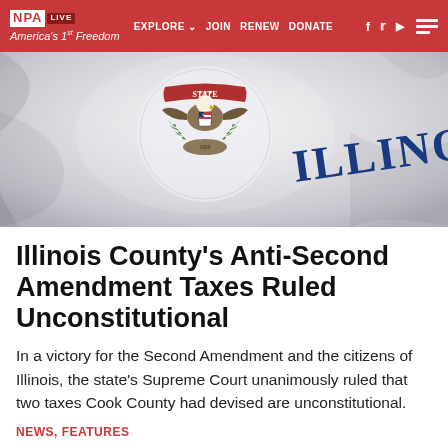NPA EXPLORE JOIN RENEW DONATE
[Figure (photo): Illinois state flag waving, showing the state seal with eagle, shield, and 'ILLINOIS' text]
Illinois County's Anti-Second Amendment Taxes Ruled Unconstitutional
In a victory for the Second Amendment and the citizens of Illinois, the state's Supreme Court unanimously ruled that two taxes Cook County had devised are unconstitutional.
NEWS, FEATURES